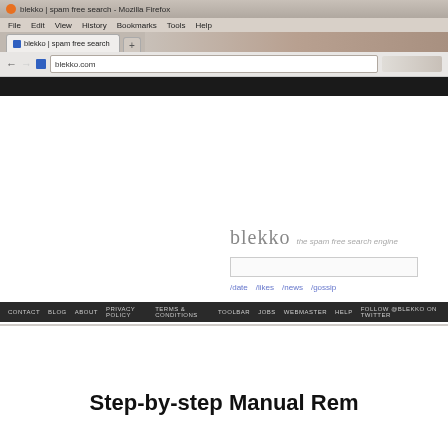[Figure (screenshot): Screenshot of blekko.com spam free search engine website open in Mozilla Firefox browser, showing browser chrome with tabs, navigation bar with blekko.com URL, the blekko search homepage with logo, tagline 'the spam free search engine', search box, links (/date /likes /news /gossip), 'learn more about blekko' link, and a dark footer bar with navigation links: CONTACT, BLOG, ABOUT, PRIVACY POLICY, TERMS & CONDITIONS, TOOLBAR, JOBS, WEBMASTER, HELP, FOLLOW @BLEKKO ON TWITTER]
Step-by-step Manual Rem